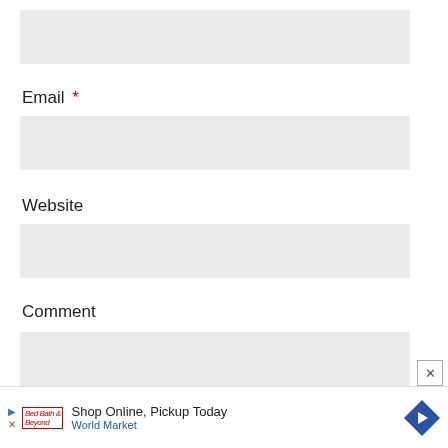[Figure (screenshot): A text input box (empty, light gray background) at top of the page]
Email *
[Figure (screenshot): An email text input box (empty, light gray background)]
Website
[Figure (screenshot): A website text input box (empty, light gray background)]
Comment
[Figure (screenshot): A comment textarea (empty, light gray background) with a close (x) button at bottom right]
[Figure (screenshot): Advertisement bar: Shop Online, Pickup Today - World Market]